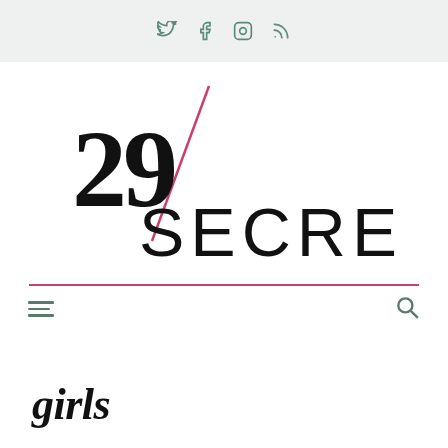Social icons: Twitter, Facebook, Instagram, RSS
[Figure (logo): 29/Secrets logo with large bold '29' numeral and italic diagonal slash in pink, followed by 'SECRETS' in large spaced sans-serif letters]
girls